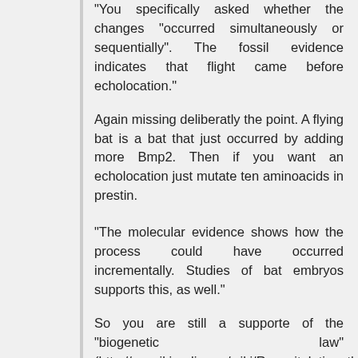"You specifically asked whether the changes "occurred simultaneously or sequentially". The fossil evidence indicates that flight came before echolocation."
Again missing deliberatly the point. A flying bat is a bat that just occurred by adding more Bmp2. Then if you want an echolocation just mutate ten aminoacids in prestin.
"The molecular evidence shows how the process could have occurred incrementally. Studies of bat embryos supports this, as well."
So you are still a supporte of the "biogenetic law" (http://en.wikipedia.org/wiki/Recapitulation_theory) that never was teached as a true law by evolutionists.
"Bmp2 is found in other vertebrates. As we pointed out, an early bat had shorter arms and